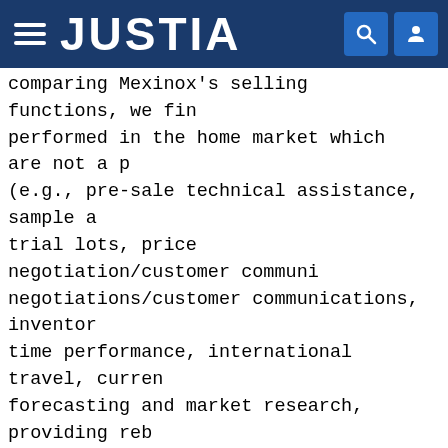JUSTIA
comparing Mexinox's selling functions, we find performed in the home market which are not a p (e.g., pre-sale technical assistance, sample a trial lots, price negotiation/customer communi negotiations/customer communications, inventor time performance, international travel, curren forecasting and market research, providing reb visits, credit and collection, and warranty se functions performed for both home market sales processing customer orders, freight and delive processing, low volume orders, and shipment of Mexinox S.A. actually performed each activity intensity in the home market. See Mexinox's AQ Based on Mexinox's responses, we note that CEP to Mexinox USA generally occur at the beginnin chain, representing essentially a logistical t resembles ex-factory sales. See Mexinox's AQR